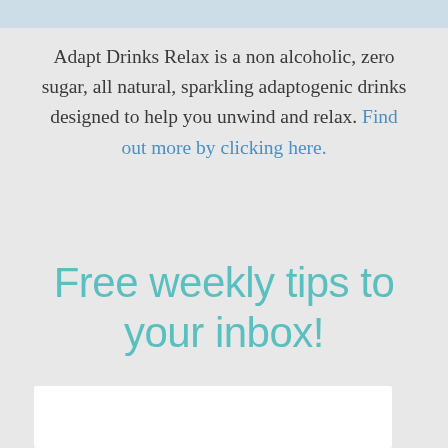[Figure (photo): Partial photo at top of page, showing what appears to be a beverage or drink product, cropped to a thin strip]
Adapt Drinks Relax is a non alcoholic, zero sugar, all natural, sparkling adaptogenic drinks designed to help you unwind and relax. Find out more by clicking here.
Free weekly tips to your inbox!
[Figure (other): White rectangular box, likely a form or embed area for newsletter signup]